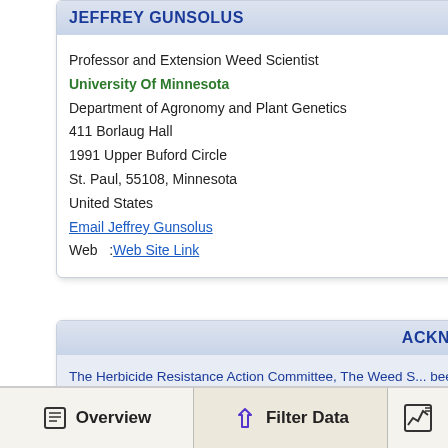JEFFREY GUNSOLUS
Professor and Extension Weed Scientist
University Of Minnesota
Department of Agronomy and Plant Genetics
411 Borlaug Hall
1991 Upper Buford Circle
St. Paul, 55108, Minnesota
United States
Email Jeffrey Gunsolus
Web   : Web Site Link
ACKNO
The Herbicide Resistance Action Committee, The Weed S... been instrumental in providing you this information. Partic... information.
Overview
Filter Data